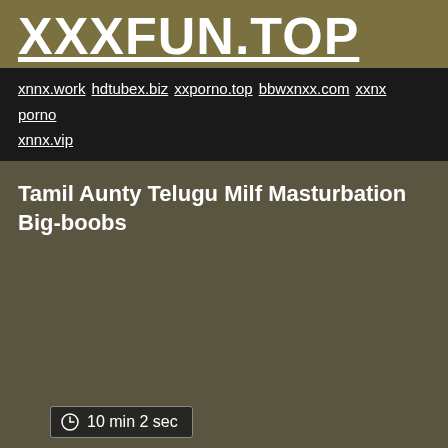XXXFUN.TOP
xnnx.work hdtubex.biz xxporno.top bbwxnxx.com xxnx porno xnnx.vip
Tamil Aunty Telugu Milf Masturbation Big-boobs
10 min 2 sec